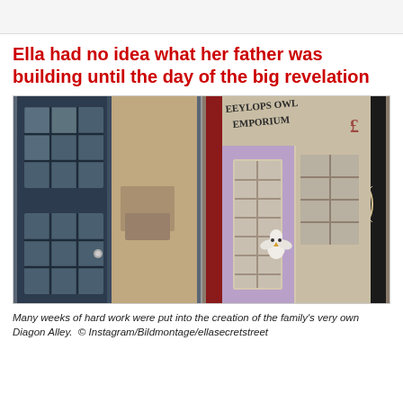Ella had no idea what her father was building until the day of the big revelation
[Figure (photo): Two photos side by side: left photo shows dark navy blue French doors/wardrobe under construction with grid-pane windows and a power drill visible; right photo shows a painted Diagon Alley shopfront facade reading 'Eeylops Owl Emporium' with lavender/purple accents, grid windows, and a white owl figurine]
Many weeks of hard work were put into the creation of the family's very own Diagon Alley.  © Instagram/Bildmontage/ellasecretstreet